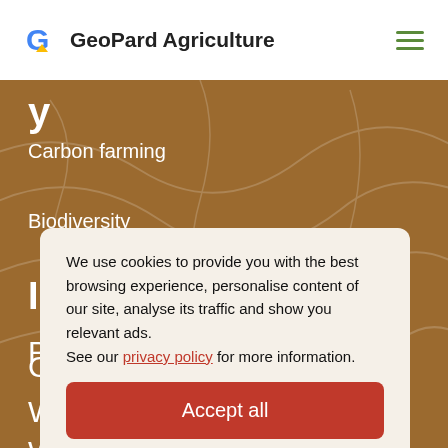GeoPard Agriculture
Carbon farming
Biodiversity
We use cookies to provide you with the best browsing experience, personalise content of our site, analyse its traffic and show you relevant ads. See our privacy policy for more information.
Accept all